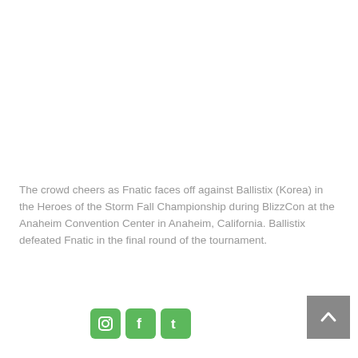The crowd cheers as Fnatic faces off against Ballistix (Korea) in the Heroes of the Storm Fall Championship during BlizzCon at the Anaheim Convention Center in Anaheim, California. Ballistix defeated Fnatic in the final round of the tournament.
[Figure (other): Social media icons row: Instagram, Facebook, Tumblr (green rounded square icons); plus a grey scroll-to-top button with upward chevron on the right]